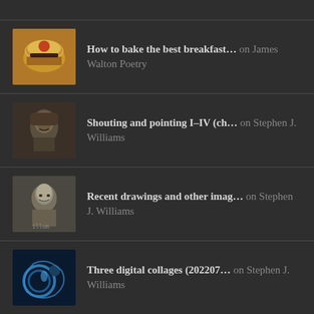How to bake the best breakfast… on James Walton Poetry
Shouting and pointing I–IV (ch… on Stephen J. Williams
Recent drawings and other imag… on Stephen J. Williams
Three digital collages (202207… on Stephen J. Williams
We're getting out of this shit… on Stephen J. Williams